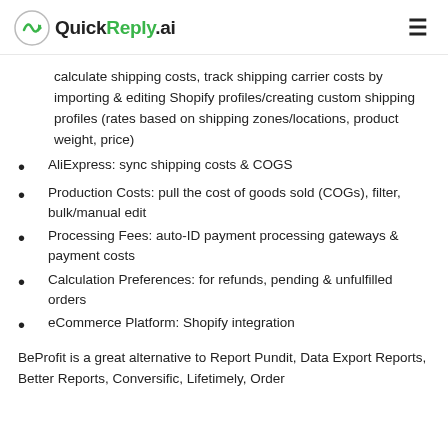QuickReply.ai
calculate shipping costs, track shipping carrier costs by importing & editing Shopify profiles/creating custom shipping profiles (rates based on shipping zones/locations, product weight, price)
AliExpress: sync shipping costs & COGS
Production Costs: pull the cost of goods sold (COGs), filter, bulk/manual edit
Processing Fees: auto-ID payment processing gateways & payment costs
Calculation Preferences: for refunds, pending & unfulfilled orders
eCommerce Platform: Shopify integration
BeProfit is a great alternative to Report Pundit, Data Export Reports, Better Reports, Conversific, Lifetimely, Order